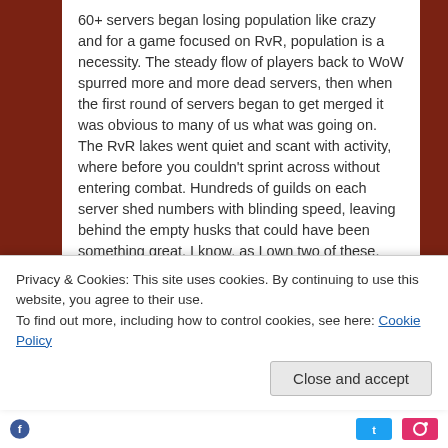60+ servers began losing population like crazy and for a game focused on RvR, population is a necessity. The steady flow of players back to WoW spurred more and more dead servers, then when the first round of servers began to get merged it was obvious to many of us what was going on. The RvR lakes went quiet and scant with activity, where before you couldn't sprint across without entering combat. Hundreds of guilds on each server shed numbers with blinding speed, leaving behind the empty husks that could have been something great. I know, as I own two of these. One of the best PvE aspects of the game, being PQ's, went silent and unplayed. Eventually, the servers began to merge and the world started to make sense again. The mistake made here, was in waiting too long for
Privacy & Cookies: This site uses cookies. By continuing to use this website, you agree to their use.
To find out more, including how to control cookies, see here: Cookie Policy
Close and accept